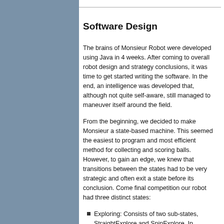Software Design
The brains of Monsieur Robot were developed using Java in 4 weeks. After coming to overall robot design and strategy conclusions, it was time to get started writing the software. In the end, an intelligence was developed that, although not quite self-aware, still managed to maneuver itself around the field.
From the beginning, we decided to make Monsieur a state-based machine. This seemed the easiest to program and most efficient method for collecting and scoring balls. However, to gain an edge, we knew that transitions between the states had to be very strategic and often exit a state before its conclusion. Come final competition our robot had three distinct states:
Exploring: Consists of two sub-states, StraightExplore and SpinExplore. In